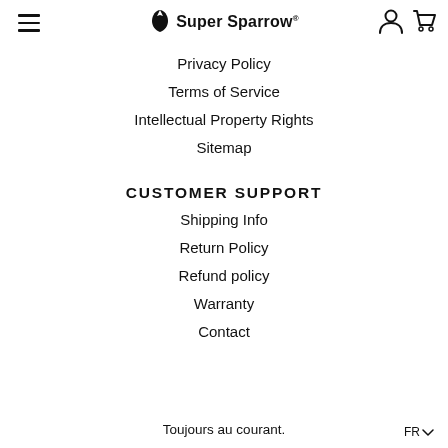Super Sparrow
Privacy Policy
Terms of Service
Intellectual Property Rights
Sitemap
CUSTOMER SUPPORT
Shipping Info
Return Policy
Refund policy
Warranty
Contact
Toujours au courant.
FR